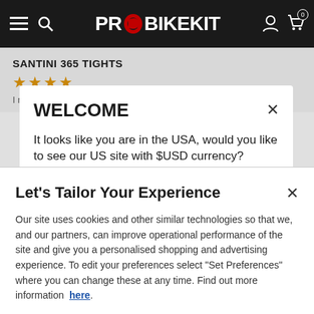PROBIKEKIT
SANTINI 365 TIGHTS
WELCOME
It looks like you are in the USA, would you like to see our US site with $USD currency?
Let's Tailor Your Experience
Our site uses cookies and other similar technologies so that we, and our partners, can improve operational performance of the site and give you a personalised shopping and advertising experience. To edit your preferences select "Set Preferences" where you can change these at any time. Find out more information here.